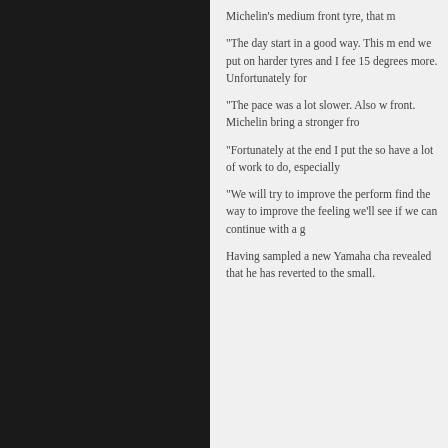Michelin's medium front tyre, that m
“The day start in a good way. This m end we put on harder tyres and I fee 15 degrees more. Unfortunately for
“The pace was a lot slower. Also w front. Michelin bring a stronger fro
“Fortunately at the end I put the so have a lot of work to do, especially
“We will try to improve the perform find the way to improve the feeling we'll see if we can continue with a g
Having sampled a new Yamaha cha revealed that he has reverted to the small.